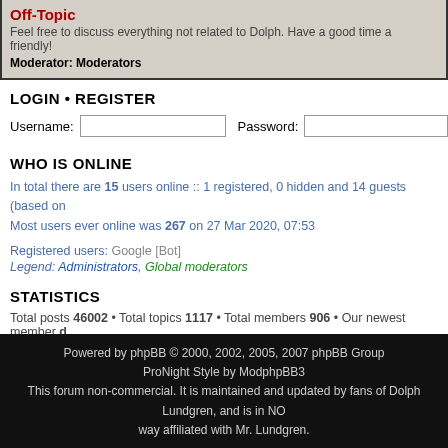Off-Topic
Feel free to discuss everything not related to Dolph. Have a good time and be friendly!
Moderator: Moderators
LOGIN • REGISTER
Username: [input] Password: [input]
WHO IS ONLINE
In total there are 15 users online :: 1 registered, 0 hidden and 14 guests (based on...
Most users ever online was 267 on 27 Mar 2020, 07:53
Registered users: Google [Bot]
Legend: Administrators, Global moderators
STATISTICS
Total posts 46002 • Total topics 1117 • Total members 906 • Our newest member d
Board index
Powered by phpBB © 2000, 2002, 2005, 2007 phpBB Group
ProNight Style by ModphpBB3
This forum non-commercial. It is maintained and updated by fans of Dolph Lundgren, and is in NO way affiliated with Mr. Lundgren.